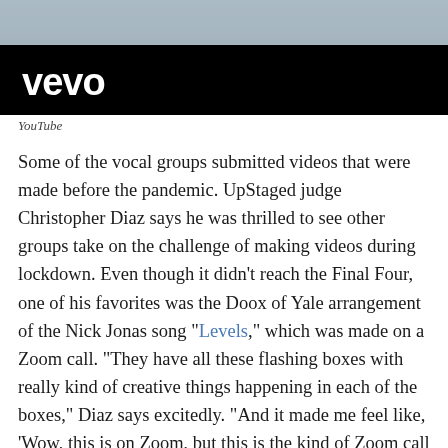[Figure (screenshot): Vevo logo on black bar with blurred outdoor background image above it]
YouTube
Some of the vocal groups submitted videos that were made before the pandemic. UpStaged judge Christopher Diaz says he was thrilled to see other groups take on the challenge of making videos during lockdown. Even though it didn't reach the Final Four, one of his favorites was the Doox of Yale arrangement of the Nick Jonas song "Levels," which was made on a Zoom call. "They have all these flashing boxes with really kind of creative things happening in each of the boxes," Diaz says excitedly. "And it made me feel like, 'Wow, this is on Zoom, but this is the kind of Zoom call I'd like to be on.' "